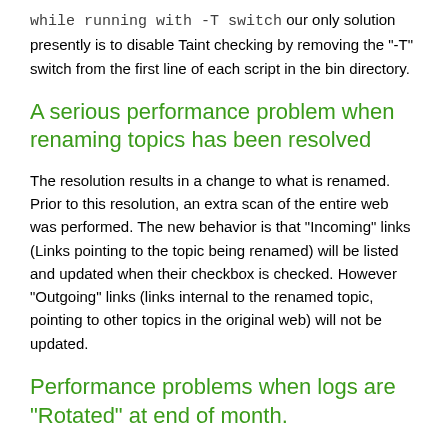while running with -T switch our only solution presently is to disable Taint checking by removing the "-T" switch from the first line of each script in the bin directory.
A serious performance problem when renaming topics has been resolved
The resolution results in a change to what is renamed. Prior to this resolution, an extra scan of the entire web was performed. The new behavior is that "Incoming" links (Links pointing to the topic being renamed) will be listed and updated when their checkbox is checked. However "Outgoing" links (links internal to the renamed topic, pointing to other topics in the original web) will not be updated.
Performance problems when logs are "Rotated" at end of month.
The plainfile logger was using too much resources when rotating the logs at end of month. This has been improved somewhat, however there still can be issues for very busy